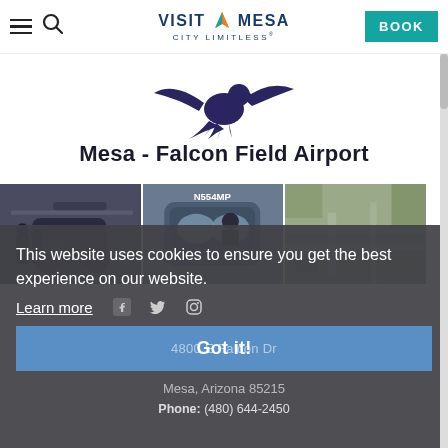VISIT MESA CITY LIMITLESS | BOOK
[Figure (logo): Mesa - Falcon Field Airport logo with eagle silhouette and airport name text]
[Figure (photo): Three photos of helicopters and aerial view at Falcon Field Airport]
This website uses cookies to ensure you get the best experience on our website.
Learn more
Got it!
4800 E Falcon Dr
Mesa, Arizona 85215
Phone: (480) 644-2450